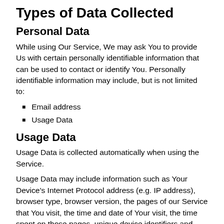Types of Data Collected
Personal Data
While using Our Service, We may ask You to provide Us with certain personally identifiable information that can be used to contact or identify You. Personally identifiable information may include, but is not limited to:
Email address
Usage Data
Usage Data
Usage Data is collected automatically when using the Service.
Usage Data may include information such as Your Device’s Internet Protocol address (e.g. IP address), browser type, browser version, the pages of our Service that You visit, the time and date of Your visit, the time spent on those pages, unique device identifiers and other diagnostic data.